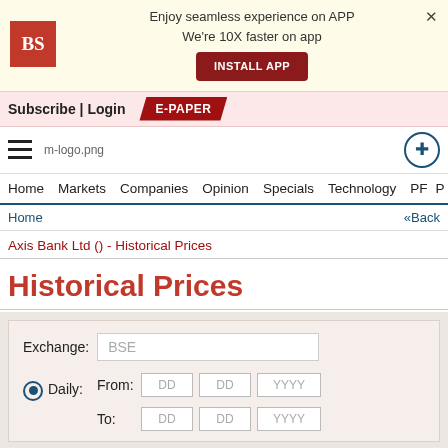[Figure (screenshot): App install banner with BS logo, text 'Enjoy seamless experience on APP We're 10X faster on app', INSTALL APP button, and X close button]
Subscribe | Login
E-PAPER
[Figure (logo): Hamburger menu icon, m-logo.png placeholder, user icon]
Home  Markets  Companies  Opinion  Specials  Technology  PF  P
Home  «Back
Axis Bank Ltd () - Historical Prices
Historical Prices
Exchange: BSE
Daily:  From: DD DD YYYY  To: DD DD YYYY